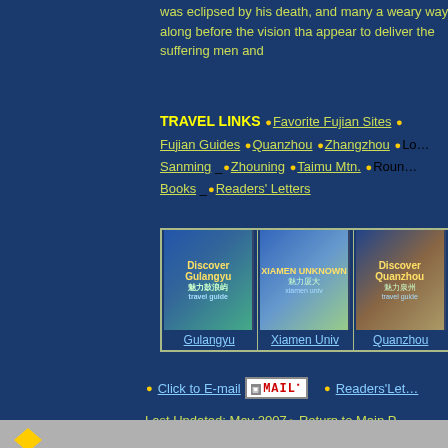was eclipsed by his death, and many a weary way along before the vision tha appear to deliver the suffering men and
TRAVEL LINKS
Favorite Fujian Sites • Fujian Guides • Quanzhou • Zhangzhou • Sanming • Zhouning • Taimu Mtn. • Books • Readers' Letters
[Figure (photo): Three book covers: Discover Gulangyu, Xiamen University related book, Discover Quanzhou]
Click to E-mail  EMAIL  Readers' Letters
Last Updated: May 2007• Return to Main Page